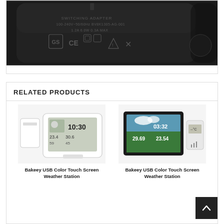[Figure (photo): Close-up photo of a black USB power adapter showing regulatory markings and certifications including GS mark, CE mark, and other safety symbols. Text on adapter includes 'SWITCHING ADAPTER', '100-240V~50/60Hz', 'BV8K1305-AG-001', '1.2A 6.0W', '0.3A MAX'.]
RELATED PRODUCTS
[Figure (photo): Photo of Bakeey USB Color Touch Screen Weather Station - white model showing LCD display with weather icons, time 10:30, temperature 23.4, humidity 59, and outdoor sensor unit.]
[Figure (photo): Photo of Bakeey USB Color Touch Screen Weather Station - color screen model showing color LCD display with weather scene, time 03:32, temperature 29.69 and 23.54, with outdoor wireless sensor unit.]
Bakeey USB Color Touch Screen Weather Station
Bakeey USB Color Touch Screen Weather Station